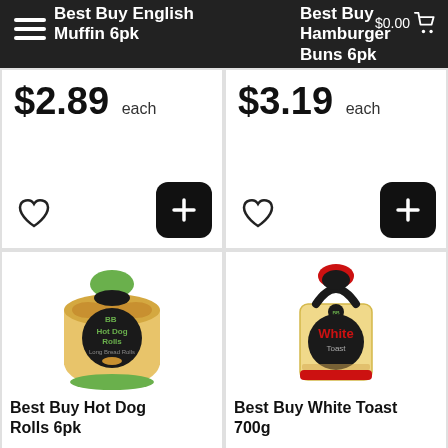Best Buy English Muffin 6pk | Best Buy Hamburger Buns 6pk | $0.00
$2.89 each
$3.19 each
[Figure (photo): Best Buy Hot Dog Rolls 6pk product package — bread rolls in a green and black bag with BB logo and 'Hot Dog Rolls Long Bread Rolls' label]
Best Buy Hot Dog Rolls 6pk
[Figure (photo): Best Buy White Toast 700g product package — sliced bread in a cream and black bag with red accent, BB logo and 'White Toast' label]
Best Buy White Toast 700g